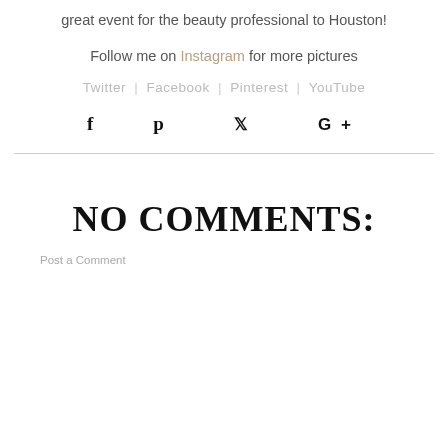great event for the beauty professional to Houston!
Follow me on Instagram for more pictures
Twitter | Facebook | Pinterest | YouTube
[Figure (other): Social share icons: Facebook (f), Pinterest (p), Twitter (bird), Google+ (G+)]
NO COMMENTS:
Post a Comment